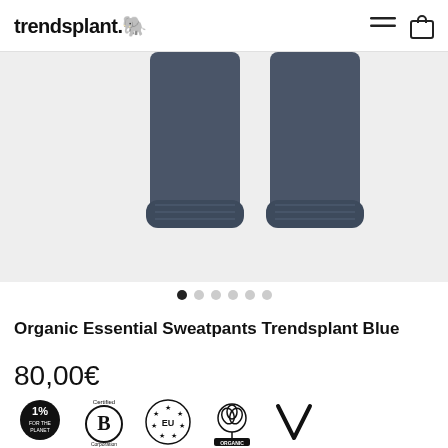trendsplant.
[Figure (photo): Product photo of dark navy blue sweatpants showing the lower legs with elasticated cuffs against a light grey background]
Organic Essential Sweatpants Trendsplant Blue
80,00€
[Figure (logo): Certification badges: 1% For The Planet, Certified B Corporation, EU stars logo, Organic cotton logo, Vegan checkmark logo]